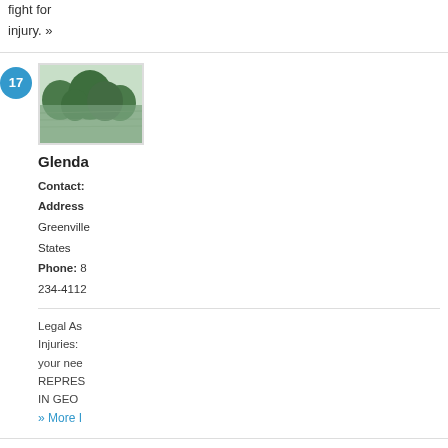fight for ... injury. »
[Figure (photo): Outdoor landscape photo showing trees reflected in water, park-like setting]
Glenda...
Contact: [name] Address: Greenville ... States Phone: 8... 234-4112...
Legal As... Injuries: your nee... REPRES... IN GEO... » More I...
[Figure (photo): Dark background with cursive/script handwriting text]